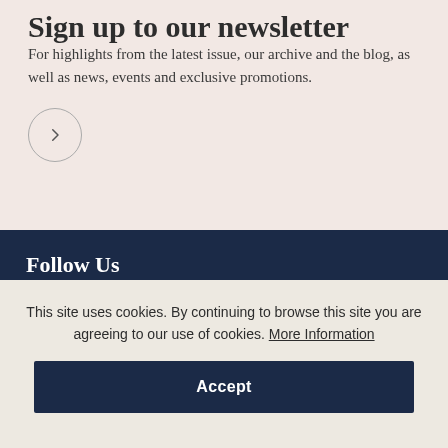Sign up to our newsletter
For highlights from the latest issue, our archive and the blog, as well as news, events and exclusive promotions.
[Figure (other): Circular arrow button (chevron right icon)]
Follow Us
This site uses cookies. By continuing to browse this site you are agreeing to our use of cookies. More Information
Accept